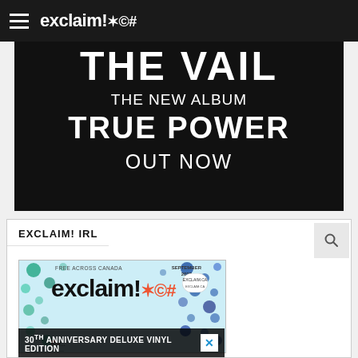exclaim!*@#
[Figure (screenshot): Dark album promotional banner showing large white text: THE VAIL (partially cropped), THE NEW ALBUM, TRUE POWER, OUT NOW]
EXCLAIM! IRL
[Figure (screenshot): Exclaim! magazine cover with colorful dot pattern, text: FREE ACROSS CANADA, exclaim!*@#, SEPTEMBER, 30th ANNIVERSARY DELUXE VINYL EDITION]
30th ANNIVERSARY DELUXE VINYL EDITION